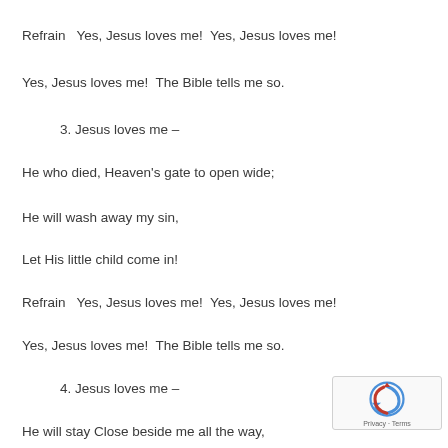Refrain   Yes, Jesus loves me!  Yes, Jesus loves me!
Yes, Jesus loves me!  The Bible tells me so.
3. Jesus loves me –
He who died, Heaven's gate to open wide;
He will wash away my sin,
Let His little child come in!
Refrain   Yes, Jesus loves me!  Yes, Jesus loves me!
Yes, Jesus loves me!  The Bible tells me so.
4. Jesus loves me –
He will stay Close beside me all the way,
[Figure (other): reCAPTCHA widget with Privacy and Terms link]